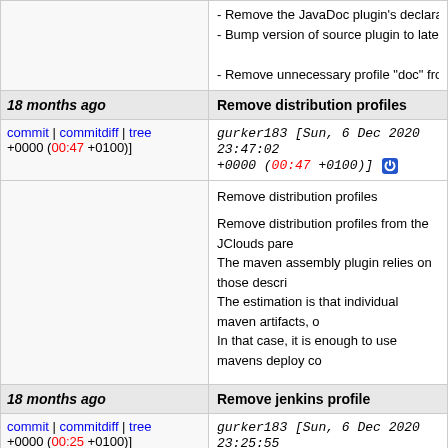- Remove the JavaDoc plugin's declaration from t
- Bump version of source plugin to latest > 3
- Remove unnecessary profile "doc" from the jclou
18 months ago
Remove distribution profiles
commit | commitdiff | tree +0000 (00:47 +0100)]
gurker183 [Sun, 6 Dec 2020 23:47:02 +0000 (00:47 +0100)]
Remove distribution profiles

Remove distribution profiles from the JClouds pare
The maven assembly plugin relies on those descri
The estimation is that individual maven artifacts, o
In that case, it is enough to use mavens deploy co
18 months ago
Remove jenkins profile
commit | commitdiff | tree +0000 (00:25 +0100)]
gurker183 [Sun, 6 Dec 2020 23:25:55 +0000 (00:25 +0100)]
Remove jenkins profile

According to the Jenkins configuration, only the m
18 months ago
Remove site profile and wired enforcer executions